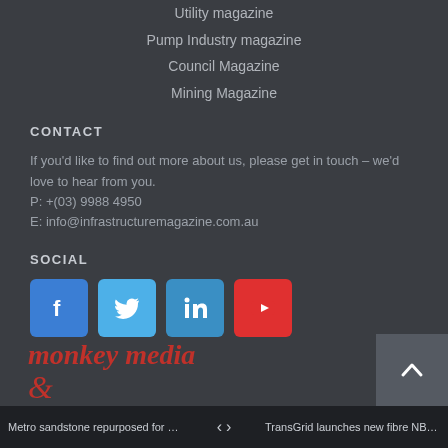Utility magazine
Pump Industry magazine
Council Magazine
Mining Magazine
CONTACT
If you'd like to find out more about us, please get in touch – we'd love to hear from you.
P: +(03) 9988 4950
E: info@infrastructuremagazine.com.au
SOCIAL
[Figure (infographic): Social media icons: Facebook (blue), Twitter (light blue), LinkedIn (blue), YouTube (red)]
[Figure (logo): Monkey Media logo in red italic serif text with decorative swirl]
Metro sandstone repurposed for construc... < > TransGrid launches new fibre NBN project